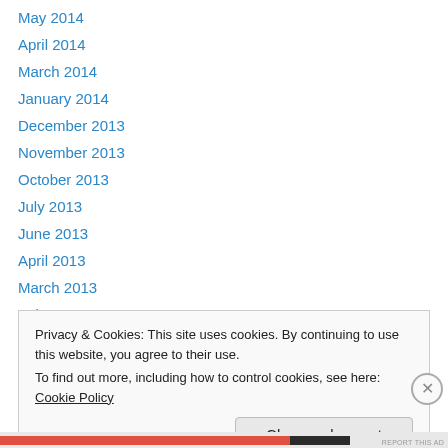May 2014
April 2014
March 2014
January 2014
December 2013
November 2013
October 2013
July 2013
June 2013
April 2013
March 2013
February 2013
January 2013
Privacy & Cookies: This site uses cookies. By continuing to use this website, you agree to their use.
To find out more, including how to control cookies, see here: Cookie Policy